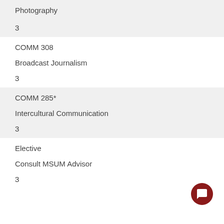Photography
3
COMM 308
Broadcast Journalism
3
COMM 285*
Intercultural Communication
3
Elective
Consult MSUM Advisor
3